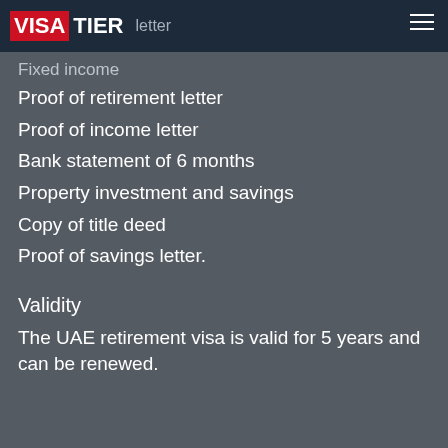VISATIER | letter
Fixed income
Proof of retirement letter
Proof of income letter
Bank statement of 6 months
Property investment and savings
Copy of title deed
Proof of savings letter.
Validity
The UAE retirement visa is valid for 5 years and can be renewed.